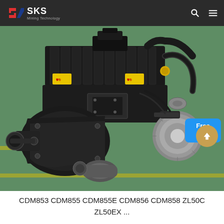SKS Mining Technology
[Figure (photo): Industrial diesel engine with transmission assembly photographed on a green workshop floor. The engine is black with yellow warning labels, multiple cylinders visible on top, and a silver alternator on the right side. A starter motor is visible at the front-bottom. The assembly appears to be a complete powertrain unit.]
CDM853 CDM855 CDM855E CDM856 CDM858 ZL50C ZL50EX ...